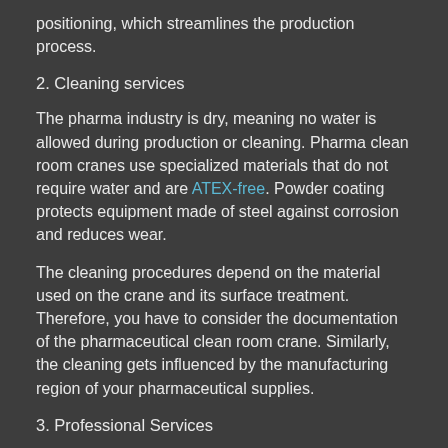positioning, which streamlines the production process.
2. Cleaning services
The pharma industry is dry, meaning no water is allowed during production or cleaning. Pharma clean room cranes use specialized materials that do not require water and are ATEX-free. Powder coating protects equipment made of steel against corrosion and reduces wear.
The cleaning procedures depend on the material used on the crane and its surface treatment. Therefore, you have to consider the documentation of the pharmaceutical clean room crane. Similarly, the cleaning gets influenced by the manufacturing region of your pharmaceutical supplies.
3. Professional Services
Special care is required of your clean room crane during operation to prevent contamination of products. The crane must be fully operational without fault during its lifespan. For example, simple issues like flaking and rust can poison pharmaceutical products.